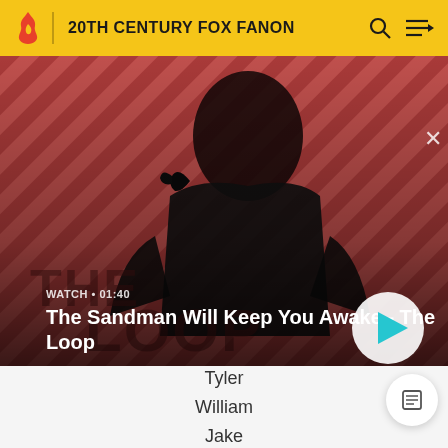20TH CENTURY FOX FANON
[Figure (screenshot): Hero image showing a dark-cloaked figure with a raven on shoulder against a red diagonal striped background. The Loop TV show promotional art.]
WATCH • 01:40
The Sandman Will Keep You Awake - The Loop
Tyler
William
Jake